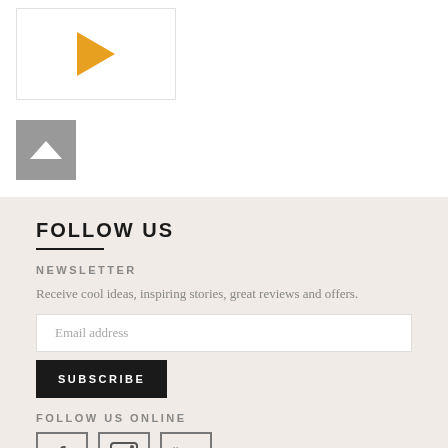[Figure (other): Video thumbnail with orange play button triangle on white background]
[Figure (other): Scroll-to-top button with white chevron/up arrow on grey background]
FOLLOW US
NEWSLETTER
Receive cool ideas, inspiring stories, great reviews and offers.
Email address
SUBSCRIBE
FOLLOW US ONLINE
[Figure (other): Social media icons: Facebook, Instagram, YouTube]